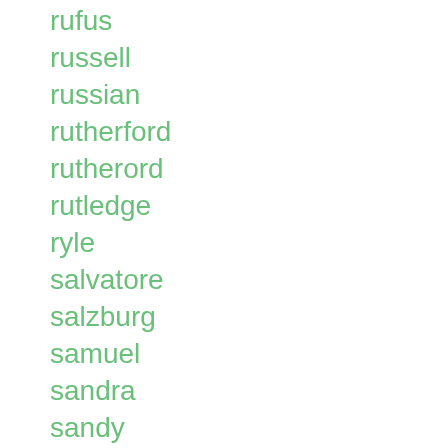rufus
russell
russian
rutherford
rutherord
rutledge
ryle
salvatore
salzburg
samuel
sandra
sandy
sarah
scan
scarce
scientist
scorpions